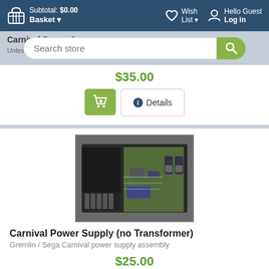Subtotal: $0.00 Basket ▾  Wish List ▾  Hello Guest Log in
[Figure (screenshot): Search bar with text 'Search store' and green search button]
Carnival Power Su...
Untested, dirty Gremlin / Sega Carnival power s...
$35.00
[Figure (screenshot): Add to cart button (green) and Details button]
[Figure (photo): Photo of Carnival power supply board with capacitors]
Carnival Power Supply (no Transformer)
Gremlin / Sega Carnival power supply assembly
$25.00
[Figure (screenshot): Add to cart button (green) and Details button]